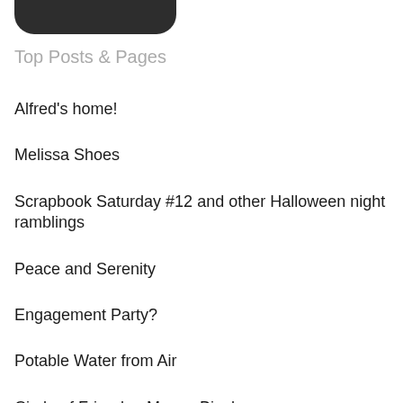[Figure (other): Partial dark rounded rectangle shape at top of page, cropped]
Top Posts & Pages
Alfred's home!
Melissa Shoes
Scrapbook Saturday #12 and other Halloween night ramblings
Peace and Serenity
Engagement Party?
Potable Water from Air
Circle of Friends - Maeve Binchy